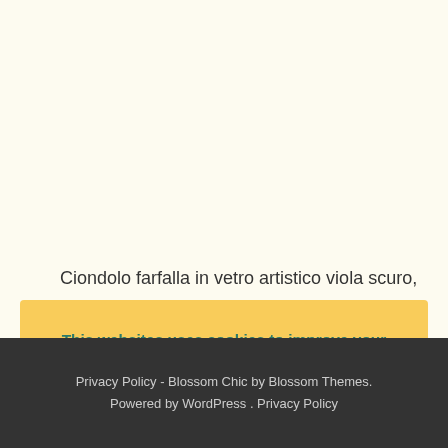Ciondolo farfalla in vetro artistico viola scuro,
This websites uses cookies to improve your experience. We'll assume you're ok with this, but you can opt-out if you wish. Accept Reject All Read More
Privacy Policy - Blossom Chic by Blossom Themes. Powered by WordPress . Privacy Policy